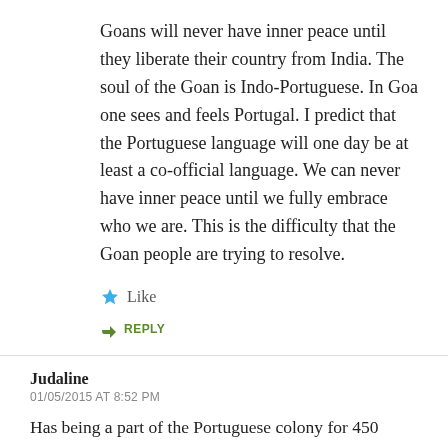Goans will never have inner peace until they liberate their country from India. The soul of the Goan is Indo-Portuguese. In Goa one sees and feels Portugal. I predict that the Portuguese language will one day be at least a co-official language. We can never have inner peace until we fully embrace who we are. This is the difficulty that the Goan people are trying to resolve.
★ Like
↳ REPLY
Judaline
01/05/2015 AT 8:52 PM
Has being a part of the Portuguese colony for 450 years made the Catholic Goans forget their Indian roots. What about Goan Muslims and Hindus.....the extent to which they suffered at the hands of the Portuguese. Have the